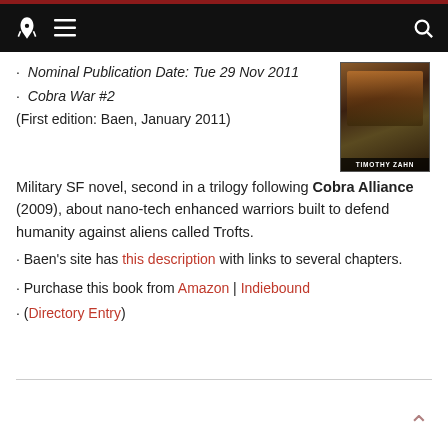Navigation bar with rocket logo, menu icon, and search icon
[Figure (illustration): Book cover image for a Timothy Zahn novel, dark fantasy/sci-fi cover art with the author name TIMOTHY ZAHN at the bottom]
Nominal Publication Date: Tue 29 Nov 2011
Cobra War #2
(First edition: Baen, January 2011)
Military SF novel, second in a trilogy following Cobra Alliance (2009), about nano-tech enhanced warriors built to defend humanity against aliens called Trofts.
Baen's site has this description with links to several chapters.
Purchase this book from Amazon | Indiebound
(Directory Entry)